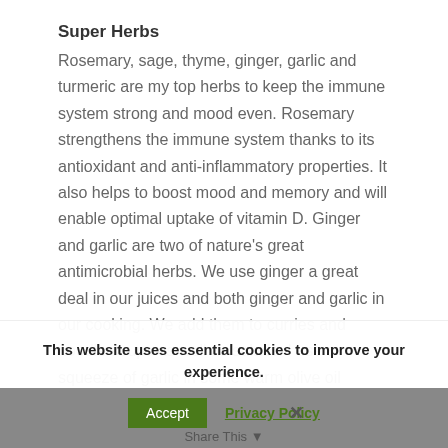Super Herbs
Rosemary, sage, thyme, ginger, garlic and turmeric are my top herbs to keep the immune system strong and mood even. Rosemary strengthens the immune system thanks to its antioxidant and anti-inflammatory properties. It also helps to boost mood and memory and will enable optimal uptake of vitamin D. Ginger and garlic are two of nature's great antimicrobial herbs. We use ginger a great deal in our juices and both ginger and garlic in our cooking. We add them to curries and noodle soups as well as salads. I use a squeeze of garlic in some warm olive oil
This website uses essential cookies to improve your experience. We'll assume you're ok with this, but you can leave if you wish.
Accept   Privacy Policy   Share This   ✕